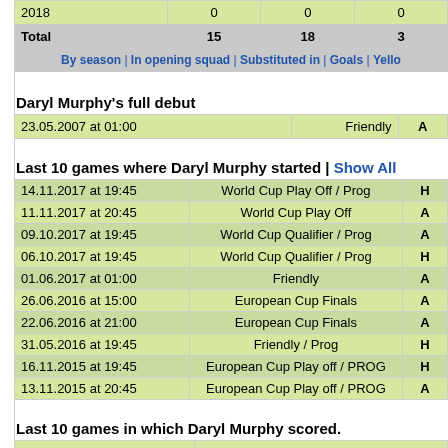|  |  |  |  |
| --- | --- | --- | --- |
| 2018 | 0 | 0 | 0 |
| Total | 15 | 18 | 3 |
| By season | In opening squad | Substituted in | Goals | Yello |  |  |  |
Daryl Murphy's full debut
| 23.05.2007 at 01:00 | Friendly | A |
Last 10 games where Daryl Murphy started | Show All
| 14.11.2017 at 19:45 | World Cup Play Off / Prog | H |
| 11.11.2017 at 20:45 | World Cup Play Off | A |
| 09.10.2017 at 19:45 | World Cup Qualifier / Prog | A |
| 06.10.2017 at 19:45 | World Cup Qualifier / Prog | H |
| 01.06.2017 at 01:00 | Friendly | A |
| 26.06.2016 at 15:00 | European Cup Finals | A |
| 22.06.2016 at 21:00 | European Cup Finals | A |
| 31.05.2016 at 19:45 | Friendly / Prog | H |
| 16.11.2015 at 19:45 | European Cup Play off / PROG | H |
| 13.11.2015 at 20:45 | European Cup Play off / PROG | A |
Last 10 games in which Daryl Murphy scored.
| 06.10.2017 at 19:45 | World Cup Qualifier / Prog |  |